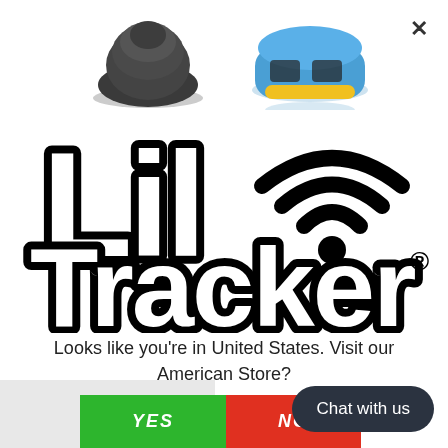[Figure (screenshot): Two partially visible product images at the top of the modal: a dark dome-shaped tracker on the left and a blue/yellow robot-style tracker on the right]
[Figure (logo): Lil Tracker logo — large bold rounded black text reading 'Lil' with a WiFi/signal icon, and 'Tracker' below with a registered trademark symbol]
Looks like you're in United States. Visit our American Store?
[Figure (other): Green YES button and red NO button side by side]
[Figure (other): Dark rounded 'Chat with us' button in bottom-right corner]